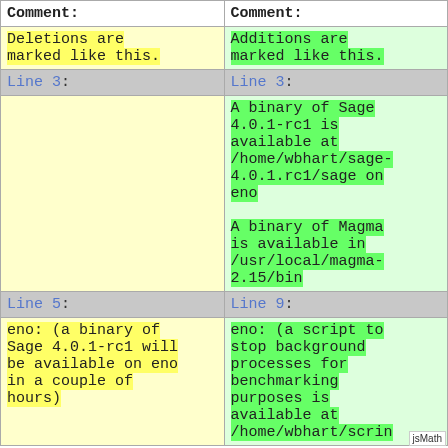| Comment: | Comment: |
| --- | --- |
| Deletions are marked like this. | Additions are marked like this. |
| Line 3: | Line 3: |
|  | A binary of Sage 4.0.1-rc1 is available at /home/wbhart/sage-4.0.1.rc1/sage on eno

A binary of Magma is available in /usr/local/magma-2.15/bin |
| Line 5: | Line 9: |
| eno: (a binary of Sage 4.0.1-rc1 will be available on eno in a couple of hours) | eno: (a script to stop background processes for benchmarking purposes is available at /home/wbhart/serin... |